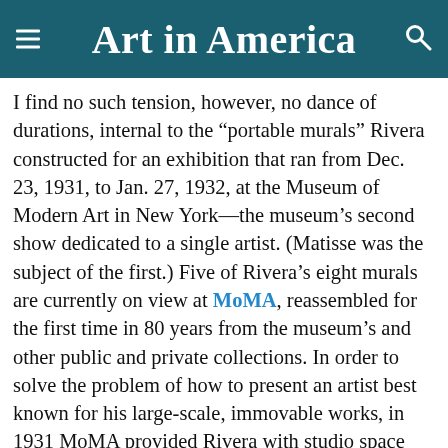Art in America
I find no such tension, however, no dance of durations, internal to the “portable murals” Rivera constructed for an exhibition that ran from Dec. 23, 1931, to Jan. 27, 1932, at the Museum of Modern Art in New York—the museum’s second show dedicated to a single artist. (Matisse was the subject of the first.) Five of Rivera’s eight murals are currently on view at MoMA, reassembled for the first time in 80 years from the museum’s and other public and private collections. In order to solve the problem of how to present an artist best known for his large-scale, immovable works, in 1931 MoMA provided Rivera with studio space within the museum, where he produced freestanding frescoes built on rigidly braced steel frames into which cement had been poured to form wall-like supports. The first five murals, completed in time for the opening, portray Mexican historical and revolutionary subjects. With the exception of The Uprising, which depicts protesting workers clashing